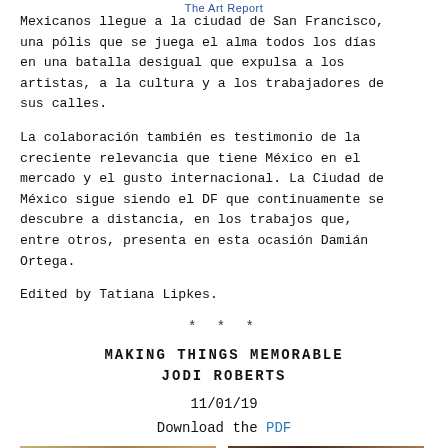The Art Report
Mexicanos llegue a la ciudad de San Francisco, una pólis que se juega el alma todos los días en una batalla desigual que expulsa a los artistas, a la cultura y a los trabajadores de sus calles.
La colaboración también es testimonio de la creciente relevancia que tiene México en el mercado y el gusto internacional. La Ciudad de México sigue siendo el DF que continuamente se descubre a distancia, en los trabajos que, entre otros, presenta en esta ocasión Damián Ortega.
Edited by Tatiana Lipkes.
* * *
MAKING THINGS MEMORABLE
JODI ROBERTS
11/01/19
Download the PDF
[Figure (photo): Two photographs side by side at the bottom of the page, partially visible. Left image appears to show an ornate decorative pattern or textile in warm golden/brown tones. Right image shows a darker scene with a framed artwork or window, also in warm tones.]